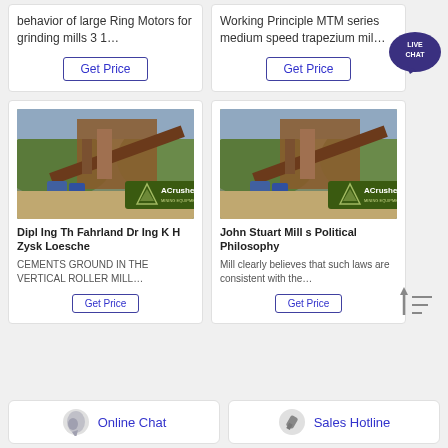behavior of large Ring Motors for grinding mills 3 1…
Working Principle MTM series medium speed trapezium mil…
[Figure (other): Get Price button left card top]
[Figure (other): Get Price button right card top]
[Figure (other): Live Chat bubble top right]
[Figure (photo): ACrusher mining equipment photo - left card]
[Figure (photo): ACrusher mining equipment photo - right card]
Dipl Ing Th Fahrland Dr Ing K H Zysk Loesche
CEMENTS GROUND IN THE VERTICAL ROLLER MILL…
John Stuart Mill s Political Philosophy
Mill clearly believes that such laws are consistent with the…
[Figure (other): Get Price button left card bottom]
[Figure (other): Get Price button right card bottom]
[Figure (other): Sort/filter icon]
Online Chat
Sales Hotline